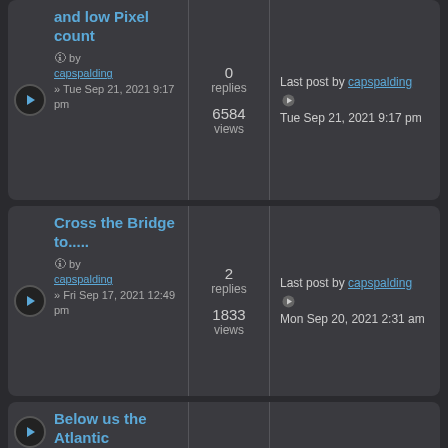| Topic | Replies | Views | Last post |
| --- | --- | --- | --- |
| and low Pixel count
by capspalding
» Tue Sep 21, 2021 9:17 pm | 0 replies | 6584 views | Last post by capspalding
Tue Sep 21, 2021 9:17 pm |
| Cross the Bridge to.....
by capspalding
» Fri Sep 17, 2021 12:49 pm | 2 replies | 1833 views | Last post by capspalding
Mon Sep 20, 2021 2:31 am |
| Below us the Atlantic
by capspalding | 0 | 6558 | Last post by capspalding |